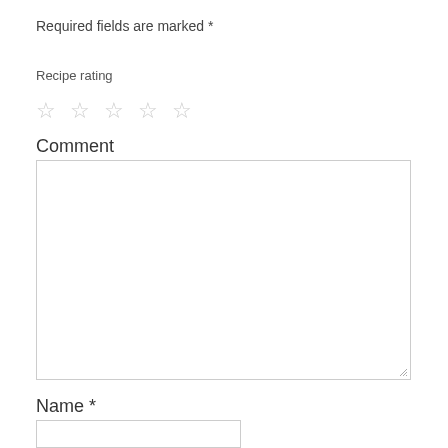Required fields are marked *
Recipe rating
☆ ☆ ☆ ☆ ☆
Comment
[Figure (other): Empty comment text area input box with resize handle]
Name *
[Figure (other): Empty name text input box]